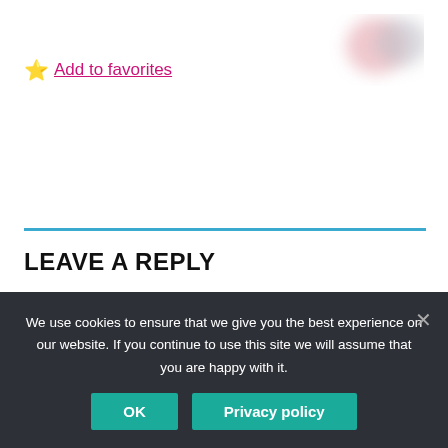[Figure (illustration): Blurred pink and gray circles in top right corner of page]
⭐ Add to favorites
LEAVE A REPLY
Your email address will not be published. Required fields
We use cookies to ensure that we give you the best experience on our website. If you continue to use this site we will assume that you are happy with it.